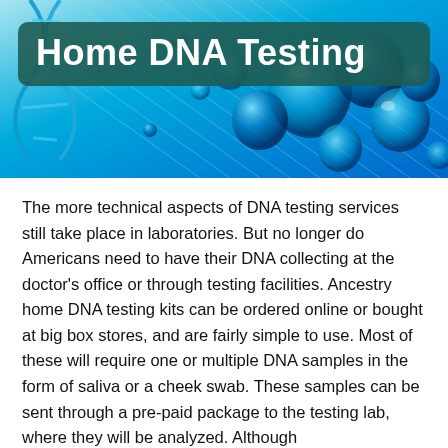[Figure (photo): Close-up photo of a blue glowing DNA double helix structure with water droplets, serving as a hero banner image for a Home DNA Testing article.]
Home DNA Testing
The more technical aspects of DNA testing services still take place in laboratories. But no longer do Americans need to have their DNA collecting at the doctor's office or through testing facilities. Ancestry home DNA testing kits can be ordered online or bought at big box stores, and are fairly simple to use. Most of these will require one or multiple DNA samples in the form of saliva or a cheek swab. These samples can be sent through a pre-paid package to the testing lab, where they will be analyzed. Although